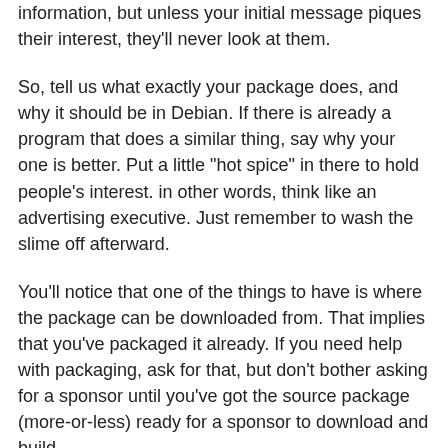information, but unless your initial message piques their interest, they'll never look at them.
So, tell us what exactly your package does, and why it should be in Debian. If there is already a program that does a similar thing, say why your one is better. Put a little "hot spice" in there to hold people's interest. in other words, think like an advertising executive. Just remember to wash the slime off afterward.
You'll notice that one of the things to have is where the package can be downloaded from. That implies that you've packaged it already. If you need help with packaging, ask for that, but don't bother asking for a sponsor until you've got the source package (more-or-less) ready for a sponsor to download and build.
Sponsoring a package takes a lot more than just downloading it from your website and uploading it to